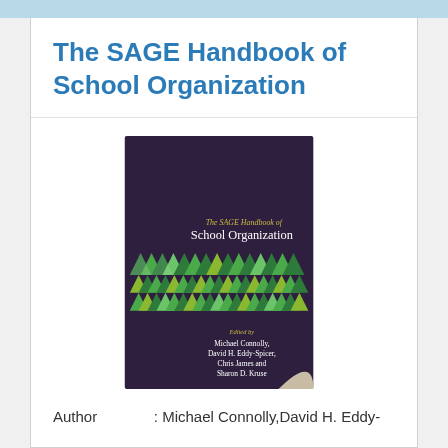The SAGE Handbook of School Organization
[Figure (photo): Book cover of The SAGE Handbook of School Organization, edited by Michael Connolly, David H. Eddy-Spicer, Chris James and Sharon D. Kruse. Dark purple background with decorative green triangle pattern band across the middle. Page-curl effect at bottom right corner.]
Author       : Michael Connolly,David H. Eddy-